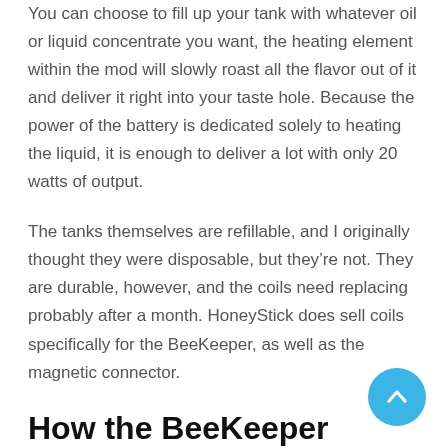You can choose to fill up your tank with whatever oil or liquid concentrate you want, the heating element within the mod will slowly roast all the flavor out of it and deliver it right into your taste hole. Because the power of the battery is dedicated solely to heating the liquid, it is enough to deliver a lot with only 20 watts of output.
The tanks themselves are refillable, and I originally thought they were disposable, but they're not. They are durable, however, and the coils need replacing probably after a month. HoneyStick does sell coils specifically for the BeeKeeper, as well as the magnetic connector.
How the BeeKeeper Stacks U
Given the BeeKeeper's uniqueness, it was hard to find